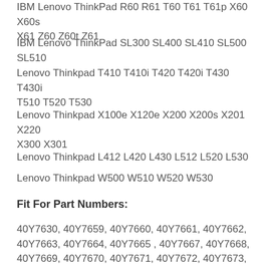IBM Lenovo ThinkPad R60 R61 T60 T61 T61p X60 X60s X61 Z60 Z60t Z61
IBM Lenovo ThinkPad SL300 SL400 SL410 SL500 SL510
Lenovo Thinkpad T410 T410i T420 T420i T430 T430i T510 T520 T530
Lenovo Thinkpad X100e X120e X200 X200s X201 X220 X300 X301
Lenovo Thinkpad L412 L420 L430 L512 L520 L530
Lenovo Thinkpad W500 W510 W520 W530
Fit For Part Numbers:
40Y7630, 40Y7659, 40Y7660, 40Y7661, 40Y7662, 40Y7663, 40Y7664, 40Y7665 , 40Y7667, 40Y7668, 40Y7669, 40Y7670, 40Y7671, 40Y7672, 40Y7673, 40Y7674
92P1111, 92P1154, 92P1158, PA-1650-161, 92P1159,